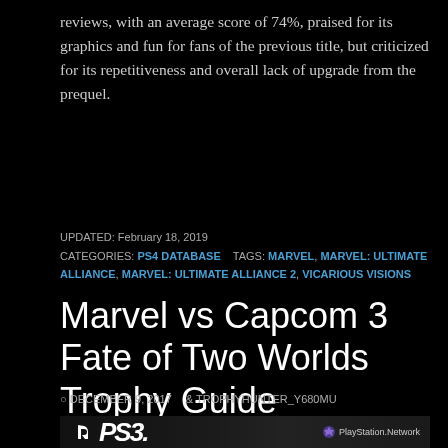reviews, with an average score of 74%, praised for its graphics and fun for fans of the previous title, but criticized for its repetitiveness and overall lack of upgrade from the prequel.
UPDATED: February 18, 2019
CATEGORIES: PS4 DATABASE    TAGS: MARVEL, MARVEL: ULTIMATE ALLIANCE, MARVEL: ULTIMATE ALLIANCE 2, VICARIOUS VISIONS
Marvel vs Capcom 3 Fate of Two Worlds Trophy Guide
DECEMBER 9, 2017  TROPHYHUNTER_Y680MU
[Figure (photo): PS3 and PlayStation Network logo banner on dark background]